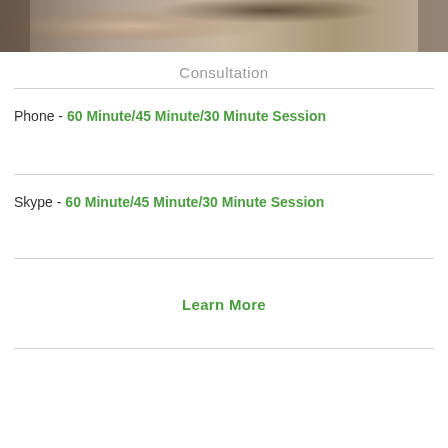[Figure (photo): Photo of a person, likely a student or consultant, partial view showing head/shoulders]
Consultation
Phone - 60 Minute/45 Minute/30 Minute Session
Skype - 60 Minute/45 Minute/30 Minute Session
Learn More